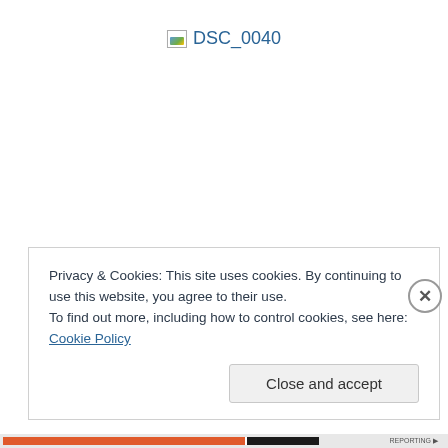[Figure (other): Broken image placeholder showing 'DSC_0040' text link in blue]
Privacy & Cookies: This site uses cookies. By continuing to use this website, you agree to their use.
To find out more, including how to control cookies, see here: Cookie Policy
Close and accept